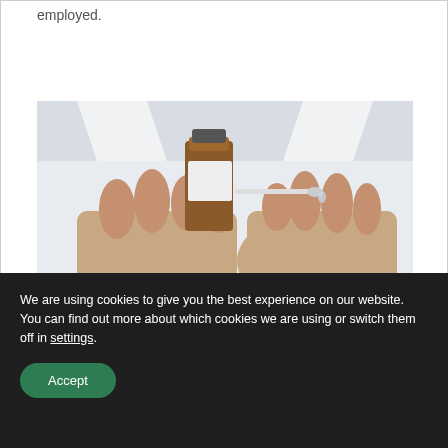employed.
[Figure (photo): A person in a white lab coat holding a small amber medicine bottle in one hand and a thin applicator or dropper in the other hand, close-up view of hands.]
We are using cookies to give you the best experience on our website.
You can find out more about which cookies we are using or switch them off in settings.
Accept